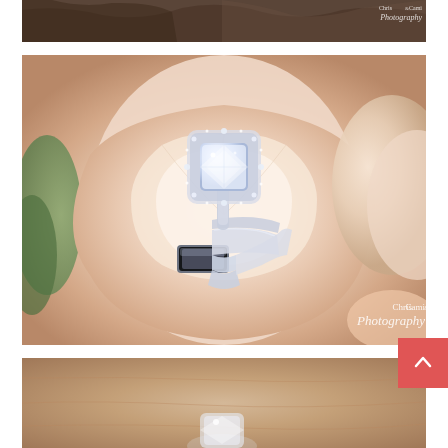[Figure (photo): Top cropped wedding photo showing feathers and dark textured background with Chris & Cami Photography watermark]
[Figure (photo): Close-up photo of diamond halo engagement ring set with wedding bands nestled inside a pale pink rose, with smaller roses beside it. Chris & Cami Photography watermark in bottom right.]
[Figure (photo): Partial bottom photo showing a diamond ring on a wooden/stone surface, partially obscured by a pink back-to-top button with upward chevron arrow]